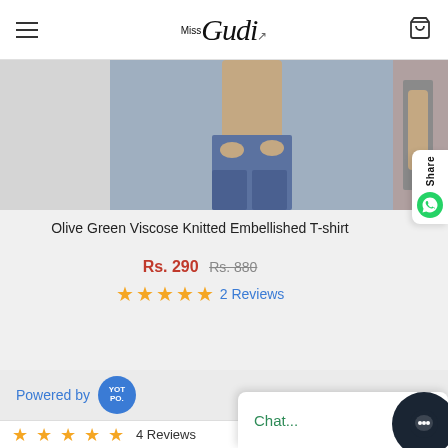Miss Gudi — navigation header with hamburger menu and cart icon
[Figure (photo): Product images row: left grey placeholder, center cropped model wearing blue jeans (hands visible), right partial dark clothing on model]
Olive Green Viscose Knitted Embellished T-shirt
Rs. 290  Rs. 880  ★★★★★ 2 Reviews
[Figure (infographic): Share button on right side with WhatsApp icon]
Powered by YOTPO
★★★★★  4 Reviews
[Figure (infographic): Chat button with dark circle icon in bottom right corner]